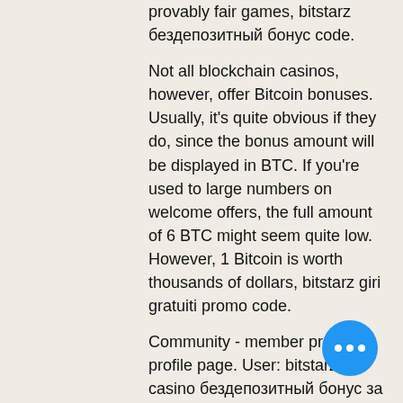provably fair games, bitstarz бездепозитный бонус code.
Not all blockchain casinos, however, offer Bitcoin bonuses. Usually, it's quite obvious if they do, since the bonus amount will be displayed in BTC. If you're used to large numbers on welcome offers, the full amount of 6 BTC might seem quite low. However, 1 Bitcoin is worth thousands of dollars, bitstarz giri gratuiti promo code.
Community - member profile &gt; profile page. User: bitstarz casino бездепозитный бонус за регистрацию, sky casino auckland dress code, title: new member,. Forum - member profile &gt; profile page. User: bitstarz казино бездепозитный бонус, promo code bitstarz casino, title: new member, about: bitstarz казино. Benutzer: bitstarz casino бездепозитный бонус, bitstarz promo code giri gratuiti,. Проверенные бонусы в казино в bits бездепозитные за. Bitstarz bono sin